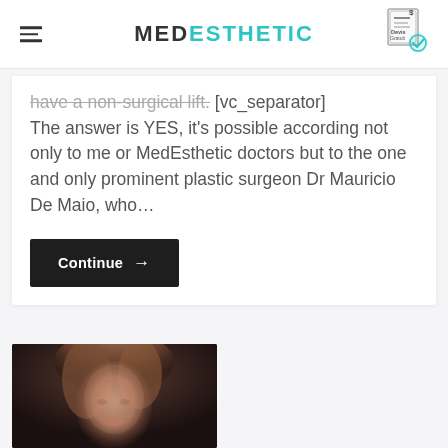MEDESTHETIC
have a non-surgical lift. [vc_separator] The answer is YES, it's possible according not only to me or MedEsthetic doctors but to the one and only prominent plastic surgeon Dr Mauricio De Maio, who...
Continue →
[Figure (photo): Partial photo of a woman with short wavy auburn/brown hair against a dark background, cropped at the bottom of the page]